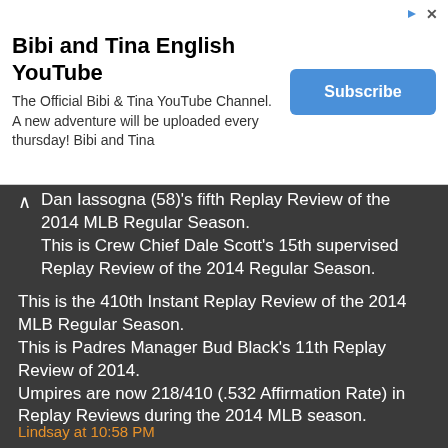[Figure (screenshot): YouTube channel advertisement banner for 'Bibi and Tina English YouTube' with Subscribe button]
Dan Iassogna (58)'s fifth Replay Review of the 2014 MLB Regular Season. This is Crew Chief Dale Scott's 15th supervised Replay Review of the 2014 Regular Season.
This is the 410th Instant Replay Review of the 2014 MLB Regular Season. This is Padres Manager Bud Black's 11th Replay Review of 2014. Umpires are now 218/410 (.532 Affirmation Rate) in Replay Reviews during the 2014 MLB season.
Wrap: San Diego Padres vs. Chicago White Sox, 5/31/14
Video: Play stands; White Sox catch Cabrera stealing for the second out in the fourth inning (SD)
Lindsay at 10:58 PM